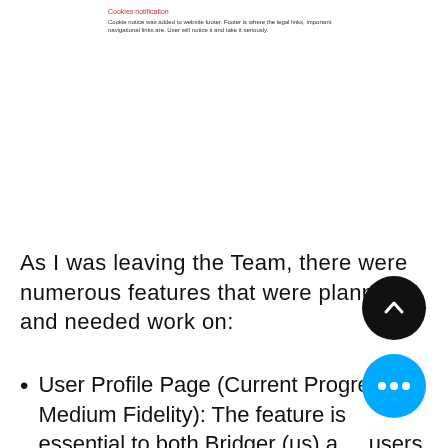Cookies notification
Cookie notice was added to website footer. Footer is where the legal links, important navigational links are. User will notice it and take it seriously.
As I was leaving the Team, there were numerous features that were planned and needed work on:
User Profile Page (Current Progress: Medium Fidelity): The feature is essential to both Bridger (us) and users to be part of an online community. As website owners, it